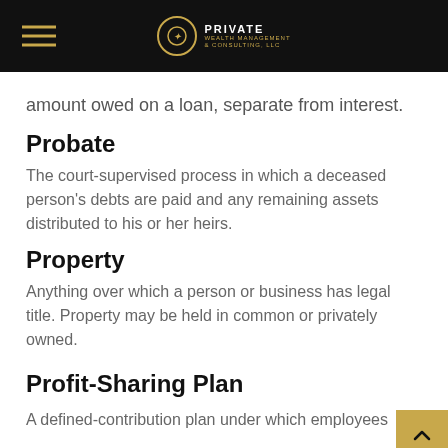Private Wealth Management & Consulting, LLC
amount owed on a loan, separate from interest.
Probate
The court-supervised process in which a deceased person's debts are paid and any remaining assets distributed to his or her heirs.
Property
Anything over which a person or business has legal title. Property may be held in common or privately owned.
Profit-Sharing Plan
A defined-contribution plan under which employees